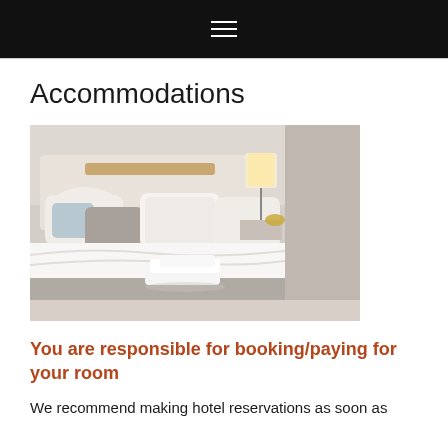≡
Accommodations
[Figure (photo): Hotel room with a neatly made bed, white pillows, grey throw, folded white towels on the bed, lamp on nightstand in the background.]
You are responsible for booking/paying for your room
We recommend making hotel reservations as soon as